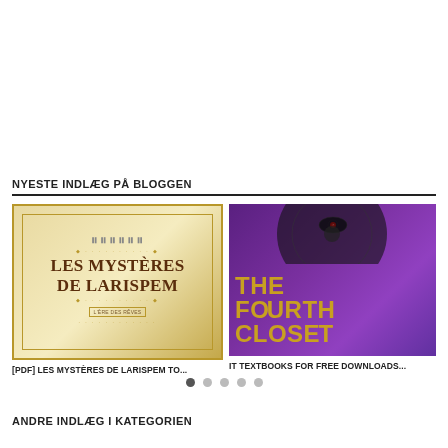NYESTE INDLÆG PÅ BLOGGEN
[Figure (illustration): Book cover of 'Les Mystères de Larispem' — ornate golden diamond frame design on cream/gold background with decorative dots border]
[PDF] LES MYSTÈRES DE LARISPEM TO...
[Figure (illustration): Book cover of 'The Fourth Closet' — dark purple background with glowing red eye, golden stylized text]
IT TEXTBOOKS FOR FREE DOWNLOADS...
ANDRE INDLÆG I KATEGORIEN